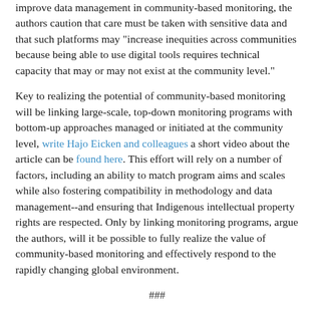improve data management in community-based monitoring, the authors caution that care must be taken with sensitive data and that such platforms may "increase inequities across communities because being able to use digital tools requires technical capacity that may or may not exist at the community level."
Key to realizing the potential of community-based monitoring will be linking large-scale, top-down monitoring programs with bottom-up approaches managed or initiated at the community level, write Hajo Eicken and colleagues a short video about the article can be found here. This effort will rely on a number of factors, including an ability to match program aims and scales while also fostering compatibility in methodology and data management--and ensuring that Indigenous intellectual property rights are respected. Only by linking monitoring programs, argue the authors, will it be possible to fully realize the value of community-based monitoring and effectively respond to the rapidly changing global environment.
###